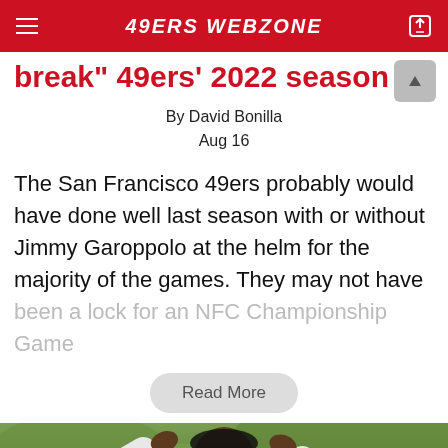49ERS WEBZONE
break" 49ers' 2022 season
By David Bonilla
Aug 16
The San Francisco 49ers probably would have done well last season with or without Jimmy Garoppolo at the helm for the majority of the games. They may not have been a lock for an NFC Championship Game
Read More
[Figure (photo): A football player wearing a white long-sleeve shirt adjusting something on his head with both hands raised, photographed outdoors with green foliage in the background.]